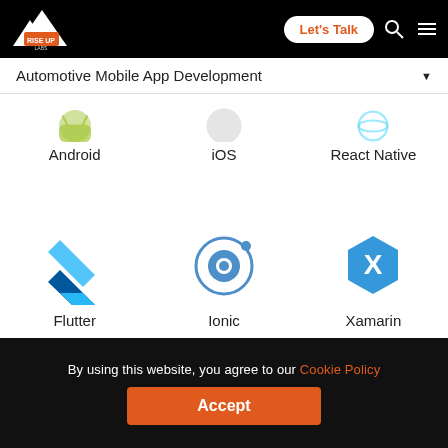Rise Up Labs — Let's Talk | Navigation bar
Automotive Mobile App Development
[Figure (logo): Android logo icon (partially visible)]
Android
[Figure (logo): iOS logo icon (partially visible)]
iOS
[Figure (logo): React Native logo icon (partially visible)]
React Native
[Figure (logo): Flutter logo — blue angular chevron icon]
Flutter
[Figure (logo): Ionic logo — circle with dot]
Ionic
[Figure (logo): Xamarin logo — blue hexagon with X]
Xamarin
By using this website, you agree to our Cookie Policy
Accept